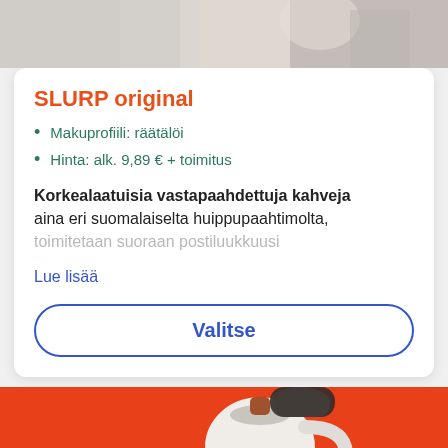[Figure (photo): Top partial photo strip of a person, cropped, light gray/beige tones]
SLURP original
Makuprofiili: räätälöi
Hinta: alk. 9,89 € + toimitus
Korkealaatuisia vastapaahdettuja kahveja aina eri suomalaiselta huippupaahtimolta, toimitetaan suoraan postiluukkuusi
Lue lisää
Valitse
[Figure (photo): Photo of a white kettle pouring hot water into a coffee dripper with a coffee bag, on an orange/red background]